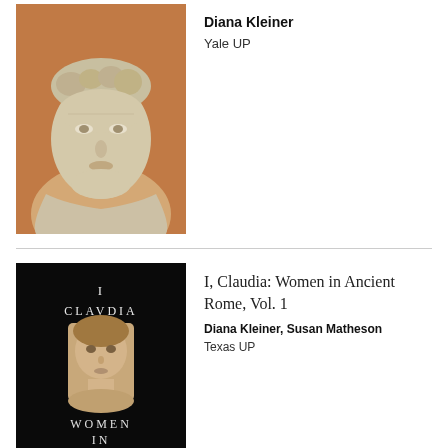[Figure (photo): Book cover showing a Roman bust sculpture against an orange background]
Diana Kleiner
Yale UP
[Figure (photo): Book cover of 'I Claudia: Women in Ancient Rome Vol. 1' with black background and a portrait bust]
I, Claudia: Women in Ancient Rome, Vol. 1
Diana Kleiner, Susan Matheson
Texas UP
[Figure (photo): Partial view of another book cover at the bottom of the page]